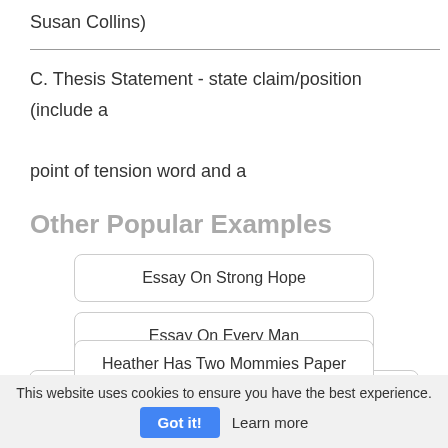Susan Collins)
C. Thesis Statement - state claim/position (include a point of tension word and a
Other Popular Examples
Essay On Strong Hope
Essay On Every Man
DO YOU FEEL ADOLESCENT BEHAVIOR IS INFLUENCED BY TELEVISION
Heather Has Two Mommies Paper
This website uses cookies to ensure you have the best experience.
Got it!   Learn more